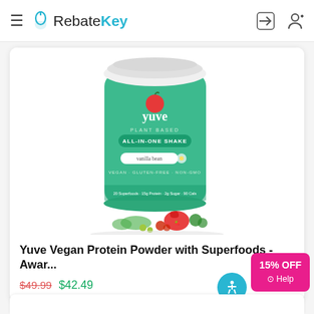RebateKey
[Figure (photo): Yuve Vegan Protein Powder with Superfoods - vanilla bean flavor, green cylinder container with white lid, surrounded by fresh fruits and vegetables]
Yuve Vegan Protein Powder with Superfoods - Awar...
$49.99 $42.49
15% OFF